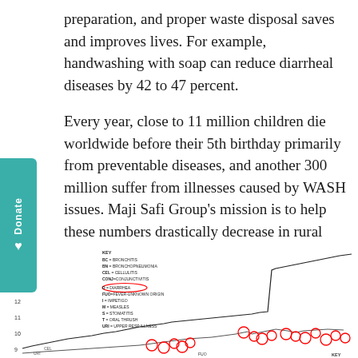preparation, and proper waste disposal saves and improves lives. For example, handwashing with soap can reduce diarrheal diseases by 42 to 47 percent.
Every year, close to 11 million children die worldwide before their 5th birthday primarily from preventable diseases, and another 300 million suffer from illnesses caused by WASH issues. Maji Safi Group's mission is to help these numbers drastically decrease in rural Tanzania. Would you join us in saving and improving the lives of these children?
[Figure (continuous-plot): Line chart showing disease data over time with a key listing: BC=Bronchitis, BN=Bronchopneumonia, CEL=Cellulitis, CONJ=Conjunctivitis, D=Diarrhea (circled/highlighted), FUO=Fever-Unknown Origin, I=Impetigo, M=Measles, S=Stomatitis, T=Oral Thrush, URI=Upper Resp Illness. Multiple lines plotted with diarrhea data points circled in red.]